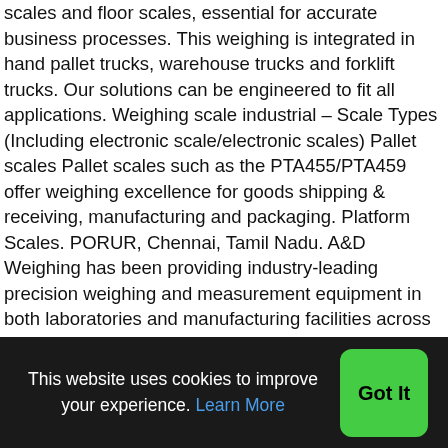scales and floor scales, essential for accurate business processes. This weighing is integrated in hand pallet trucks, warehouse trucks and forklift trucks. Our solutions can be engineered to fit all applications. Weighing scale industrial – Scale Types (Including electronic scale/electronic scales) Pallet scales Pallet scales such as the PTA455/PTA459 offer weighing excellence for goods shipping & receiving, manufacturing and packaging. Platform Scales. PORUR, Chennai, Tamil Nadu. A&D Weighing has been providing industry-leading precision weighing and measurement equipment in both laboratories and manufacturing facilities across the world for over 40 years. Floor scales with a variety of sizes and capacities are suitable for heavy industrial applications. Tax: £148.00 Inc. VAT: £148.00 … Adjustable weighing beam scales for weighing large objects Capacity: from 600 kg to 3 tn. Industrial weighing solutions and tools
This website uses cookies to improve your experience. Learn More